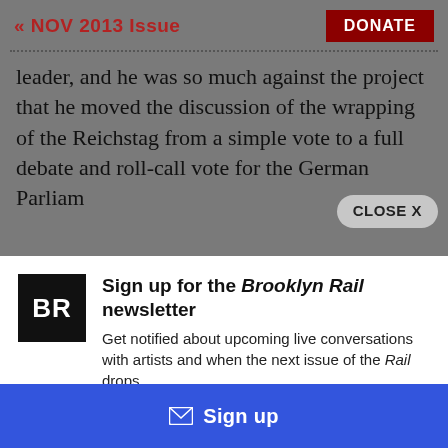« NOV 2013 Issue
leader, and he was so much against the project that he moved the discussion of the wrapping of the Reichstag from a simple vote to a full debate and roll-call vote for the German Parliam…
[Figure (logo): Brooklyn Rail BR logo — black square with white BR letters]
Sign up for the Brooklyn Rail newsletter
Get notified about upcoming live conversations with artists and when the next issue of the Rail drops.
Sign up